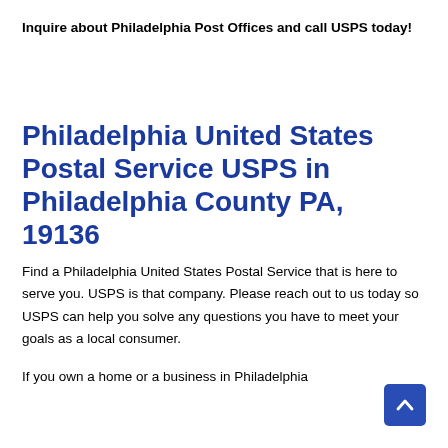Inquire about Philadelphia Post Offices and call USPS today!
Philadelphia United States Postal Service USPS in Philadelphia County PA, 19136
Find a Philadelphia United States Postal Service that is here to serve you. USPS is that company. Please reach out to us today so USPS can help you solve any questions you have to meet your goals as a local consumer.
If you own a home or a business in Philadelphia